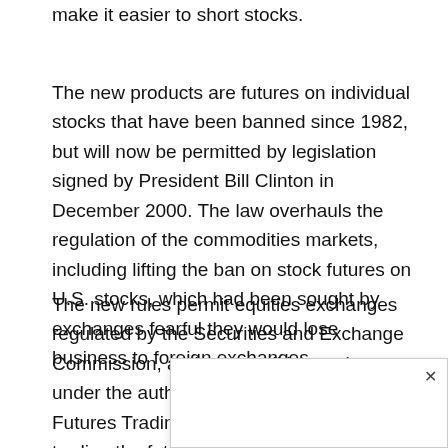make it easier to short stocks.
The new products are futures on individual stocks that have been banned since 1982, but will now be permitted by legislation signed by President Bill Clinton in December 2000. The law overhauls the regulation of the commodities markets, including lifting the ban on stock futures on U.S. stocks, which had been sought by exchanges fearful they would lose business to foreign exchanges.
The new rules permit equities exchanges regulated by the Securities and Exchange Commission, and commodities exchanges under the authority of the Commodities and Futures Trading Commission, to begin trading the futures later this year for institutions and in 2002 for retail custome